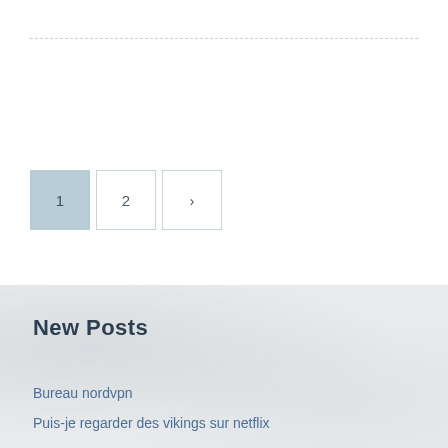[Figure (other): Pagination controls with three boxes: active page 1 (blue-grey fill), page 2 (outlined), and next arrow (outlined)]
New Posts
Bureau nordvpn
Puis-je regarder des vikings sur netflix